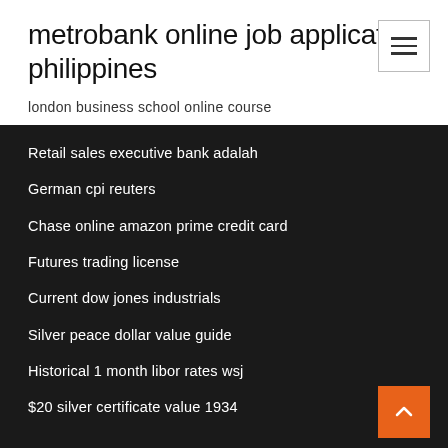metrobank online job application philippines
london business school online course
Retail sales executive bank adalah
German cpi reuters
Chase online amazon prime credit card
Futures trading license
Current dow jones industrials
Silver peace dollar value guide
Historical 1 month libor rates wsj
$20 silver certificate value 1934